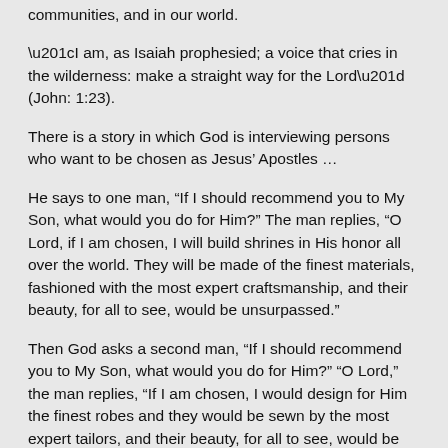communities, and in our world.
“I am, as Isaiah prophesied; a voice that cries in the wilderness: make a straight way for the Lord” (John: 1:23).
There is a story in which God is interviewing persons who want to be chosen as Jesus’ Apostles …
He says to one man, “If I should recommend you to My Son, what would you do for Him?” The man replies, “O Lord, if I am chosen, I will build shrines in His honor all over the world. They will be made of the finest materials, fashioned with the most expert craftsmanship, and their beauty, for all to see, would be unsurpassed.”
Then God asks a second man, “If I should recommend you to My Son, what would you do for Him?” “O Lord,” the man replies, “If I am chosen, I would design for Him the finest robes and they would be sewn by the most expert tailors, and their beauty, for all to see, would be unsurpassed.”
Then God asks a third man, “If I should recommend you to My